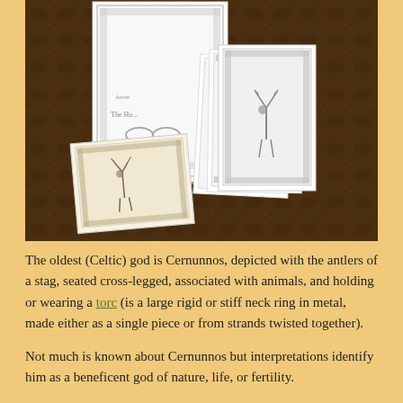[Figure (photo): A photograph showing Celtic-themed illustrated cards/prints laid on a patterned dark brown carpet. A wooden easel holds a large upright card depicting Celtic knot artwork (partially visible, labeled 'The Ho...'). In front of the easel are several smaller cards showing deer/stag imagery within Celtic knotwork borders, arranged overlapping each other.]
The oldest (Celtic) god is Cernunnos, depicted with the antlers of a stag, seated cross-legged, associated with animals, and holding or wearing a torc (is a large rigid or stiff neck ring in metal, made either as a single piece or from strands twisted together).
Not much is known about Cernunnos but interpretations identify him as a beneficent god of nature, life, or fertility.